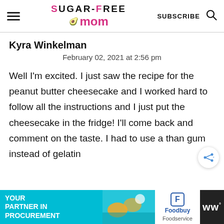Sugar-Free Mom — SUBSCRIBE
Kyra Winkelman
February 02, 2021 at 2:56 pm
Well I'm excited. I just saw the recipe for the peanut butter cheesecake and I worked hard to follow all the instructions and I just put the cheesecake in the fridge! I'll come back and comment on the taste. I had to use a than gum instead of gelatin
[Figure (other): Advertisement banner: 'Your Partner in Procurement' with Foodbuy Foodservice logo and WW logo]